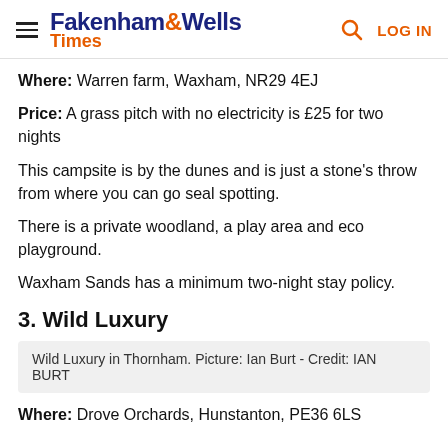Fakenham & Wells Times
Where: Warren farm, Waxham, NR29 4EJ
Price: A grass pitch with no electricity is £25 for two nights
This campsite is by the dunes and is just a stone's throw from where you can go seal spotting.
There is a private woodland, a play area and eco playground.
Waxham Sands has a minimum two-night stay policy.
3. Wild Luxury
Wild Luxury in Thornham. Picture: Ian Burt - Credit: IAN BURT
Where: Drove Orchards, Hunstanton, PE36 6LS